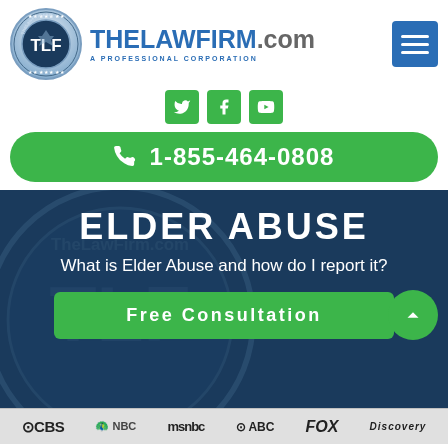[Figure (logo): TheLawFirm.com circular badge logo with TLF initials and THELAWFIRM.com text with A PROFESSIONAL CORPORATION subtitle and hamburger menu button]
[Figure (infographic): Social media icons: Twitter, Facebook, YouTube in green rounded squares]
1-855-464-0808
ELDER ABUSE
What is Elder Abuse and how do I report it?
Free Consultation
[Figure (infographic): Media logos: CBS, NBC, msnbc, ABC, FOX, Discovery in a bar at the bottom]